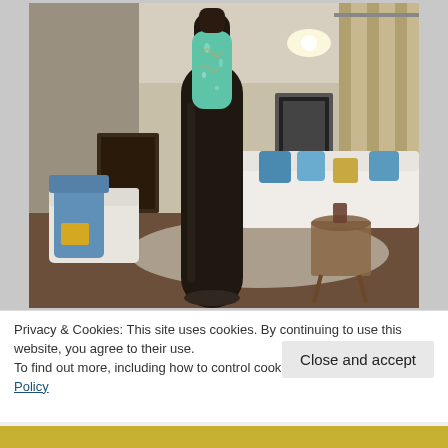[Figure (photo): A dark glass champagne/wine bottle with a teal/mint green foil neck wrap, photographed in a living room with white sofas with blue pillows, a wooden coffee table, framed artwork on walls, and curtains in background.]
Privacy & Cookies: This site uses cookies. By continuing to use this website, you agree to their use.
To find out more, including how to control cookies, see here: Cookie Policy
Close and accept